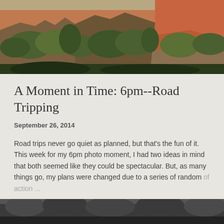[Figure (photo): Landscape photo of rocky canyon terrain with red and brown rock formations and green shrubs/trees, appears to be Grand Canyon area, cropped showing upper rim and vegetation]
A Moment in Time: 6pm--Road Tripping
September 26, 2014
Road trips never go quiet as planned, but that's the fun of it. This week for my 6pm photo moment, I had two ideas in mind that both seemed like they could be spectacular. But, as many things go, my plans were changed due to a series of random of action ...
SHARE    READ MORE
[Figure (photo): Black and white photo partially visible at bottom, appears to show trees or forest scene]